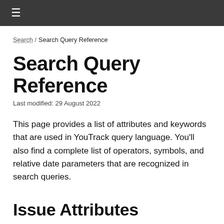≡
Search / Search Query Reference
Search Query Reference
Last modified: 29 August 2022
This page provides a list of attributes and keywords that are used in YouTrack query language. You'll also find a complete list of operators, symbols, and relative date parameters that are recognized in search queries.
Issue Attributes